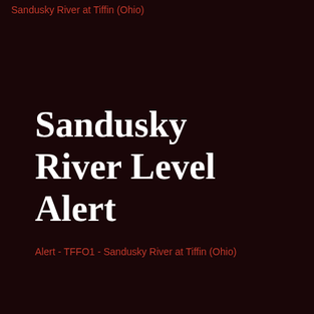Sandusky River at Tiffin (Ohio)
Sandusky River Level Alert
Alert - TFFO1 - Sandusky River at Tiffin (Ohio)